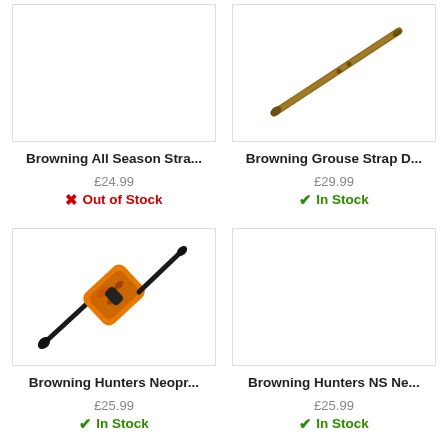[Figure (photo): Browning All Season Strap product image - gun sling]
[Figure (photo): Browning Grouse Strap D product image - tan/khaki rifle sling diagonal]
Browning All Season Stra...
£24.99
✗ Out of Stock
Browning Grouse Strap D...
£29.99
✓ In Stock
[Figure (photo): Browning Hunters Neoprene sling - orange camo center with black ends, diagonal]
[Figure (photo): Browning Hunters NS Neoprene sling - empty white image box]
Browning Hunters Neopr...
£25.99
✓ In Stock
Browning Hunters NS Ne...
£25.99
✓ In Stock